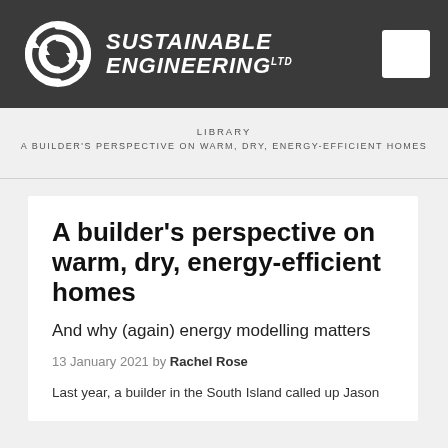[Figure (logo): Sustainable Engineering Ltd logo with circular arrows icon and italic white uppercase text on dark background]
LIBRARY
A BUILDER'S PERSPECTIVE ON WARM, DRY, ENERGY-EFFICIENT HOMES
A builder's perspective on warm, dry, energy-efficient homes
And why (again) energy modelling matters
13 January 2021 by Rachel Rose
Last year, a builder in the South Island called up Jason